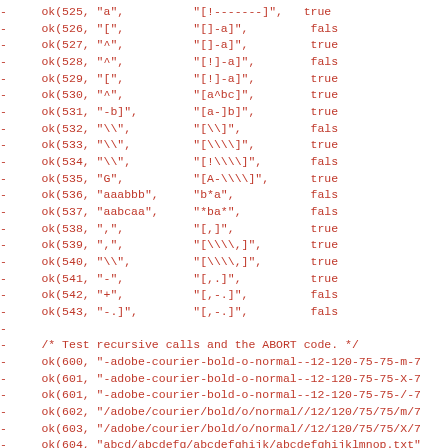Code diff showing test cases for wildcard/glob matching (ok() calls with string patterns and expected boolean results), followed by file open logic using fopen.